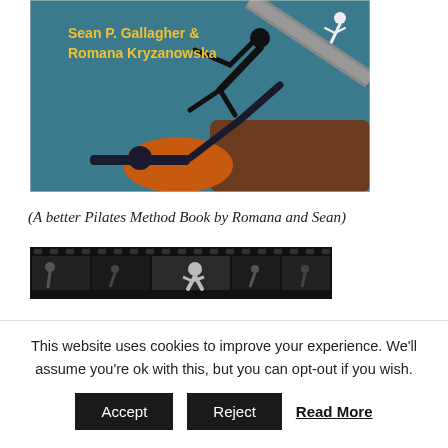[Figure (photo): Book cover of a Pilates method book by Sean P. Gallagher and Romana Kryzanowska. Shows a person performing Pilates on apparatus against a blue background, with author names in yellow text.]
(A better Pilates Method Book by Romana and Sean)
[Figure (photo): Black and white film strip or sequence of images showing Pilates exercises.]
This website uses cookies to improve your experience. We'll assume you're ok with this, but you can opt-out if you wish.